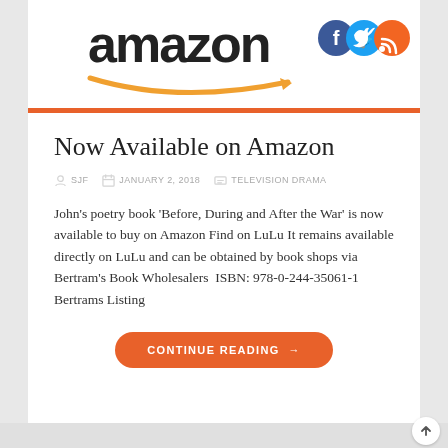[Figure (logo): Amazon logo with orange arrow/smile, plus Facebook, Twitter and RSS social media icons in top right]
Now Available on Amazon
SJF  JANUARY 2, 2018  TELEVISION DRAMA
John's poetry book 'Before, During and After the War' is now available to buy on Amazon Find on LuLu It remains available directly on LuLu and can be obtained by book shops via Bertram's Book Wholesalers  ISBN: 978-0-244-35061-1 Bertrams Listing
CONTINUE READING →